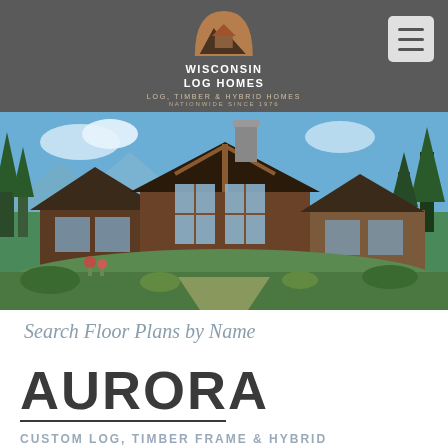Wisconsin Log Homes — Log, Timber & Hybrid Homes — Nationwide Since 1976
[Figure (photo): Exterior photo of a large custom log and timber frame home with steep gabled roofs, stone chimney, large windows, set on a green hillside with trees and blue sky in background.]
Search Floor Plans by Name
AURORA
CUSTOM LOG, TIMBER FRAME & HYBRID